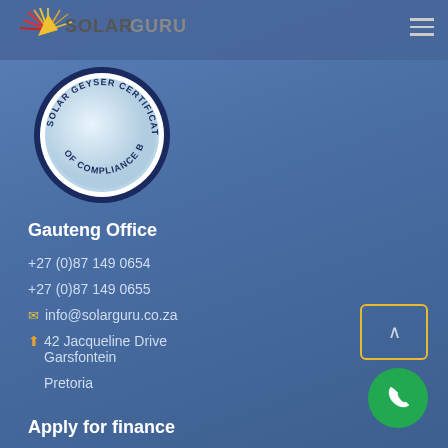SOLAR GURU
[Figure (logo): Solar Geyser Certificate of Compliance Board seal/badge - circular badge with dark blue border, white ring, light blue interior, text reading SOLAR GEYSER CERTIFICATE OF COMPLIANCE BOARD]
Gauteng Office
+27 (0)87 149 0654
+27 (0)87 149 0655
info@solarguru.co.za
42 Jacqueline Drive
Garsfontein
Pretoria
Apply for finance
[Figure (other): Scroll-to-top button box with chevron arrow]
[Figure (other): Green circular phone/call button]